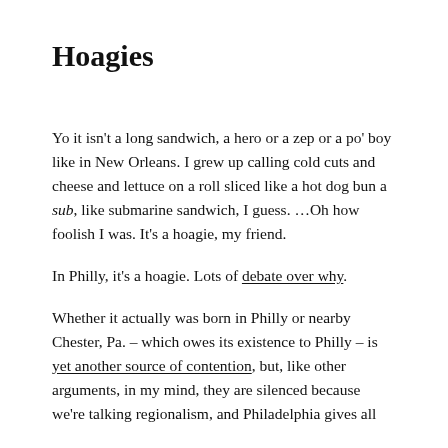Hoagies
Yo it isn't a long sandwich, a hero or a zep or a po' boy like in New Orleans. I grew up calling cold cuts and cheese and lettuce on a roll sliced like a hot dog bun a sub, like submarine sandwich, I guess. …Oh how foolish I was. It's a hoagie, my friend.
In Philly, it's a hoagie. Lots of debate over why.
Whether it actually was born in Philly or nearby Chester, Pa. – which owes its existence to Philly – is yet another source of contention, but, like other arguments, in my mind, they are silenced because we're talking regionalism, and Philadelphia gives all